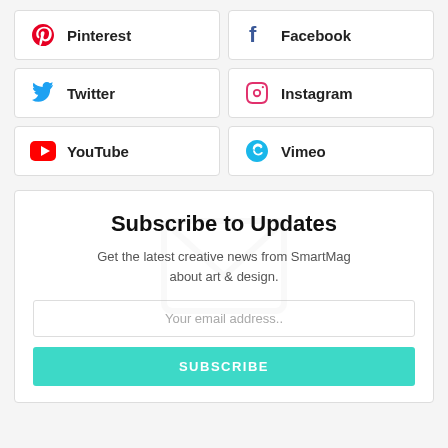Facebook
Twitter
Pinterest
Instagram
YouTube
Vimeo
Subscribe to Updates
Get the latest creative news from SmartMag about art & design.
Your email address..
SUBSCRIBE